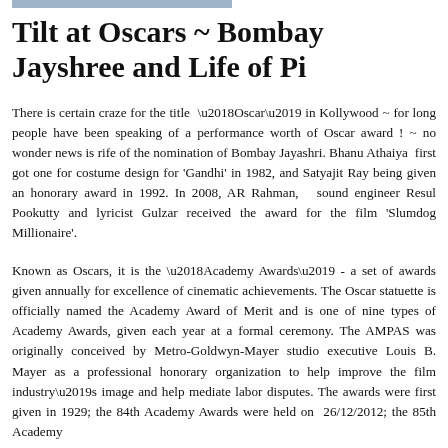Tilt at Oscars ~ Bombay Jayshree and Life of Pi
There is certain craze for the title ‘Oscar’ in Kollywood ~ for long people have been speaking of a performance worth of Oscar award ! ~ no wonder news is rife of the nomination of Bombay Jayashri. Bhanu Athaiya first got one for costume design for 'Gandhi' in 1982, and Satyajit Ray being given an honorary award in 1992. In 2008, AR Rahman, sound engineer Resul Pookutty and lyricist Gulzar received the award for the film 'Slumdog Millionaire'.
Known as Oscars, it is the ‘Academy Awards’ - a set of awards given annually for excellence of cinematic achievements. The Oscar statuette is officially named the Academy Award of Merit and is one of nine types of Academy Awards, given each year at a formal ceremony. The AMPAS was originally conceived by Metro-Goldwyn-Mayer studio executive Louis B. Mayer as a professional honorary organization to help improve the film industry’s image and help mediate labor disputes. The awards were first given in 1929; the 84th Academy Awards were held on 26/12/2012; the 85th Academy